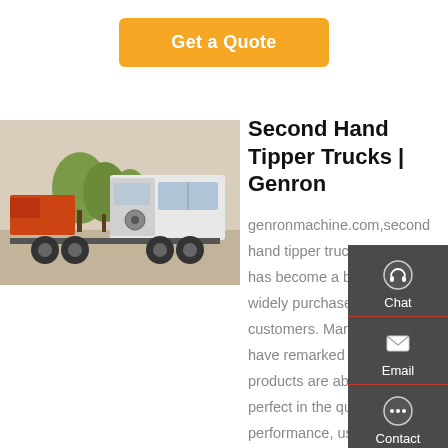Get a Quote
[Figure (photo): A white heavy-duty truck/tractor cab on a paved area with trees in the background, viewed from the side-rear angle.]
Second Hand Tipper Trucks | Genron
genronmachine.com,second hand tipper trucks,Genron has become a brand that is widely purchased by global customers. Many customers have remarked that our products are absolutely perfect in the quality, performance, usability, etc. and have reported that our products